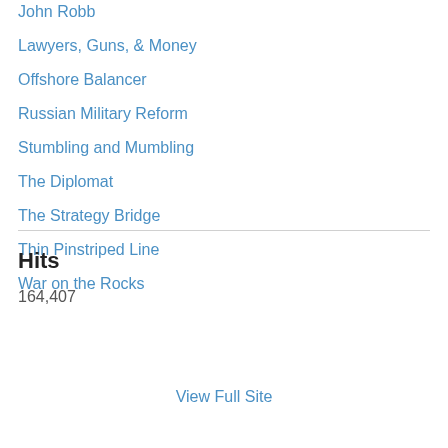John Robb
Lawyers, Guns, & Money
Offshore Balancer
Russian Military Reform
Stumbling and Mumbling
The Diplomat
The Strategy Bridge
Thin Pinstriped Line
War on the Rocks
Hits
164,407
View Full Site